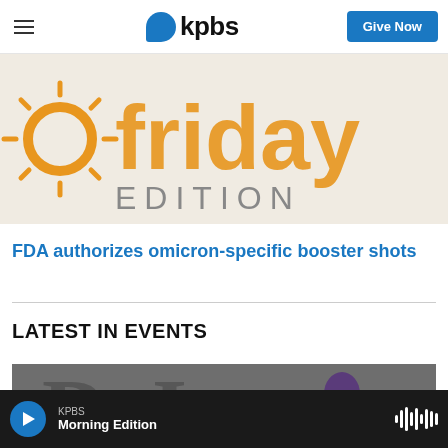KPBS — Give Now
[Figure (photo): Friday Edition logo — orange stylized sun/gear icon with 'friday EDITION' text on light background]
FDA authorizes omicron-specific booster shots
LATEST IN EVENTS
[Figure (photo): Event promotional image — dark background with large letters and a person in purple]
KPBS Morning Edition — audio player bar